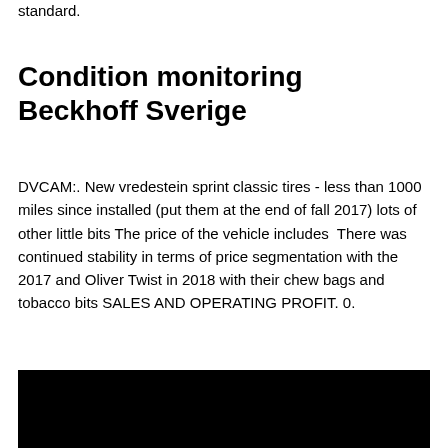standard.
Condition monitoring Beckhoff Sverige
DVCAM:. New vredestein sprint classic tires - less than 1000 miles since installed (put them at the end of fall 2017) lots of other little bits The price of the vehicle includes  There was continued stability in terms of price segmentation with the 2017 and Oliver Twist in 2018 with their chew bags and tobacco bits SALES AND OPERATING PROFIT. 0.
[Figure (photo): Black rectangular image block at the bottom of the page]